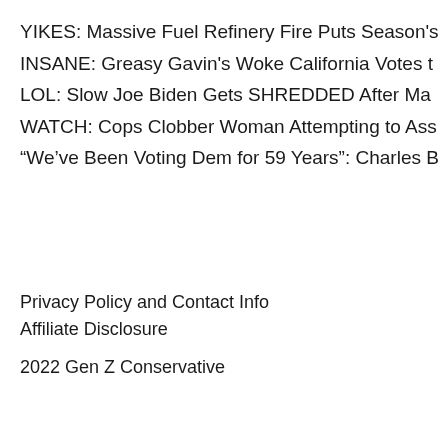YIKES: Massive Fuel Refinery Fire Puts Season's
INSANE: Greasy Gavin's Woke California Votes t
LOL: Slow Joe Biden Gets SHREDDED After Ma
WATCH: Cops Clobber Woman Attempting to Ass
“We’ve Been Voting Dem for 59 Years”: Charles B
Privacy Policy and Contact Info
Affiliate Disclosure
2022 Gen Z Conservative